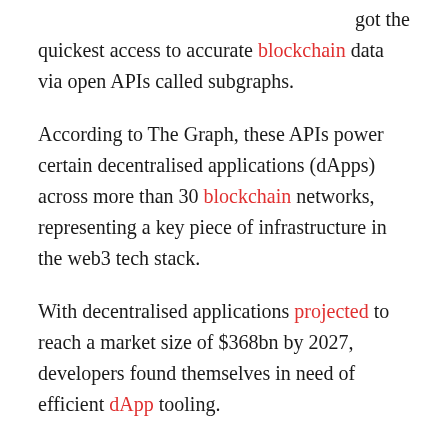got the quickest access to accurate blockchain data via open APIs called subgraphs.
According to The Graph, these APIs power certain decentralised applications (dApps) across more than 30 blockchain networks, representing a key piece of infrastructure in the web3 tech stack.
With decentralised applications projected to reach a market size of $368bn by 2027, developers found themselves in need of efficient dApp tooling.
Craig Burel, a partner at Reciprocal Ventures, commented “many of the blockchain applications and protocols that people are interacting with today are powered by centralised platforms and solutions providers”